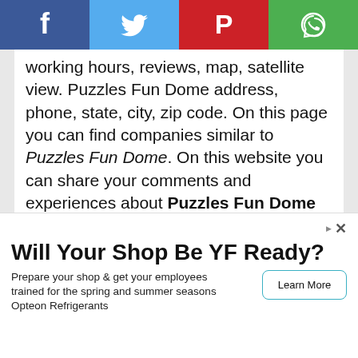[Figure (other): Social share bar with Facebook (blue), Twitter (light blue), Pinterest (red), WhatsApp (green) buttons]
working hours, reviews, map, satellite view. Puzzles Fun Dome address, phone, state, city, zip code. On this page you can find companies similar to Puzzles Fun Dome. On this website you can share your comments and experiences about Puzzles Fun Dome with other people.
to add Puzzles Fun Dome map to your website;
<iframe width="450" height="300" src="https://placesrc.com/v.php?seo=puzzles-fun-dome&id=1059583&yuk=300" frameborder="0"></iframe><p style="font-
Precise Road Service & Fleet LLC.
Road Service's company located in by servicing the all
Will Your Shop Be YF Ready?
Prepare your shop & get your employees trained for the spring and summer seasons Opteon Refrigerants